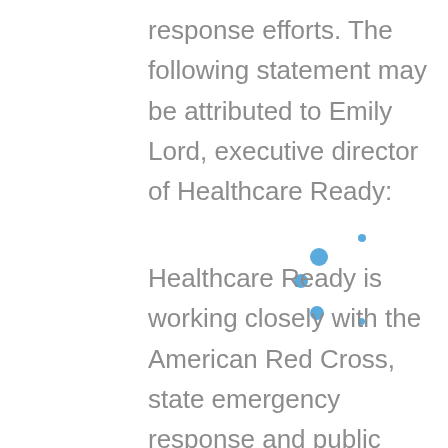response efforts. The following statement may be attributed to Emily Lord, executive director of Healthcare Ready:
Healthcare Ready is working closely with the American Red Cross, state emergency response and public health officials, and our federal partners, including FEMA, DHS, and HHS to provide support and track healthcare operations issues in real-time. Because information can become disjointed